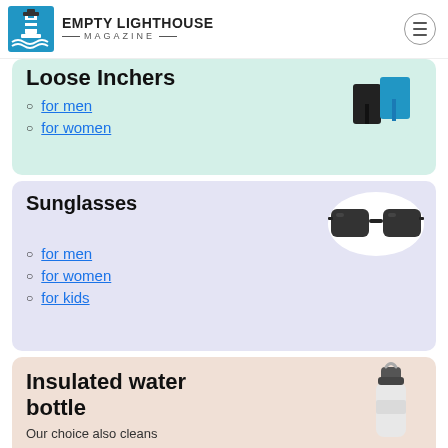EMPTY LIGHTHOUSE MAGAZINE
Loose Inchers
for men
for women
Sunglasses
for men
for women
for kids
Insulated water bottle
Our choice also cleans